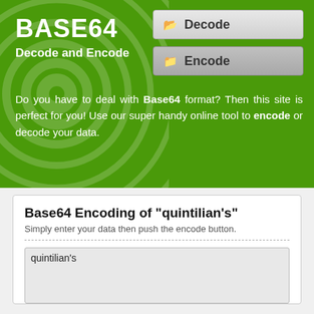BASE64
Decode and Encode
Decode
Encode
Do you have to deal with Base64 format? Then this site is perfect for you! Use our super handy online tool to encode or decode your data.
Base64 Encoding of "quintilian's"
Simply enter your data then push the encode button.
quintilian's